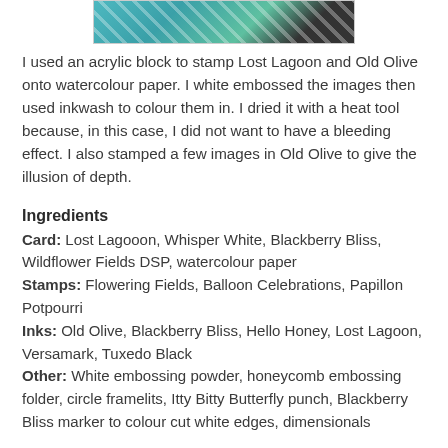[Figure (photo): Partial view of a craft card with teal/blue and green stamped floral pattern, visible at top of page]
I used an acrylic block to stamp Lost Lagoon and Old Olive onto watercolour paper. I white embossed the images then used inkwash to colour them in. I dried it with a heat tool because, in this case, I did not want to have a bleeding effect. I also stamped a few images in Old Olive to give the illusion of depth.
Ingredients
Card: Lost Lagooon, Whisper White, Blackberry Bliss, Wildflower Fields DSP, watercolour paper
Stamps: Flowering Fields, Balloon Celebrations, Papillon Potpourri
Inks: Old Olive, Blackberry Bliss, Hello Honey, Lost Lagoon, Versamark, Tuxedo Black
Other: White embossing powder, honeycomb embossing folder, circle framelits, Itty Bitty Butterfly punch, Blackberry Bliss marker to colour cut white edges, dimensionals